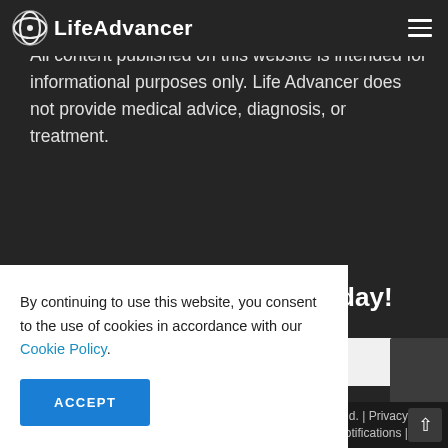LifeAdvancer
Disclaimer
All content published on this website is intended for informational purposes only. Life Advancer does not provide medical advice, diagnosis, or treatment.
Get Inspired, Join Us Today!
Email
By continuing to use this website, you consent to the use of cookies in accordance with our Cookie Policy.
ACCEPT
d. | Privacy
otifications |